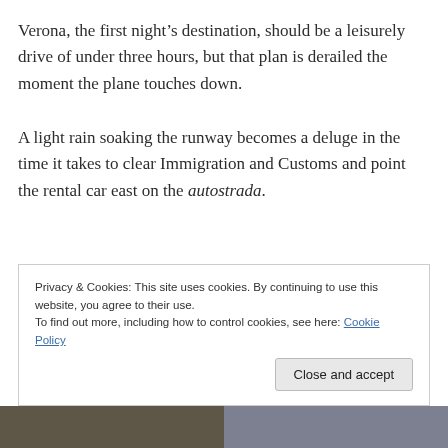Verona, the first night’s destination, should be a leisurely drive of under three hours, but that plan is derailed the moment the plane touches down.
A light rain soaking the runway becomes a deluge in the time it takes to clear Immigration and Customs and point the rental car east on the autostrada.
Privacy & Cookies: This site uses cookies. By continuing to use this website, you agree to their use.
To find out more, including how to control cookies, see here: Cookie Policy
[Figure (photo): Photo strip at the bottom of the page showing partial images]